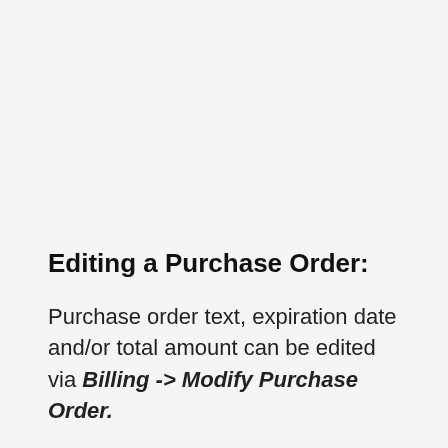Editing a Purchase Order:
Purchase order text, expiration date and/or total amount can be edited via Billing -> Modify Purchase Order.
Changing the text will affect all items